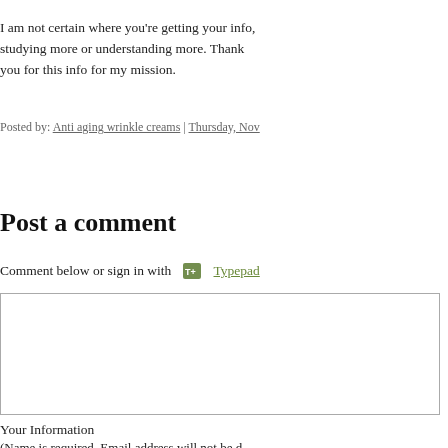I am not certain where you're getting your info, studying more or understanding more. Thank you for this info for my mission.
Posted by: Anti aging wrinkle creams | Thursday, Nov
Post a comment
Comment below or sign in with  Typepad
[Figure (other): Comment text input area (textarea form field)]
Your Information
(Name is required. Email address will not be d